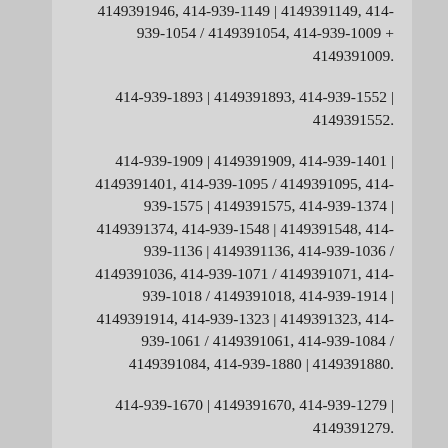4149391946, 414-939-1149 | 4149391149, 414-939-1054 / 4149391054, 414-939-1009 + 4149391009.
414-939-1893 | 4149391893, 414-939-1552 | 4149391552.
414-939-1909 | 4149391909, 414-939-1401 | 4149391401, 414-939-1095 / 4149391095, 414-939-1575 | 4149391575, 414-939-1374 | 4149391374, 414-939-1548 | 4149391548, 414-939-1136 | 4149391136, 414-939-1036 / 4149391036, 414-939-1071 / 4149391071, 414-939-1018 / 4149391018, 414-939-1914 | 4149391914, 414-939-1323 | 4149391323, 414-939-1061 / 4149391061, 414-939-1084 / 4149391084, 414-939-1880 | 4149391880.
414-939-1670 | 4149391670, 414-939-1279 | 4149391279.
414-939-1052 / 4149391052;
414-939-1567 | 4149391567, 414-939-1005 + 4149391005, 414-939-1463 | 4149391463, 414-